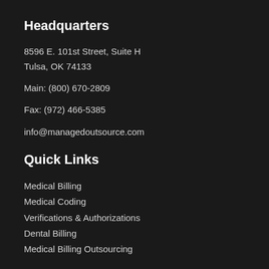Headquarters
8596 E. 101st Street, Suite H
Tulsa, OK 74133
Main: (800) 670-2809
Fax: (972) 466-5385
info@managedoutsource.com
Quick Links
Medical Billing
Medical Coding
Verifications & Authorizations
Dental Billing
Medical Billing Outsourcing